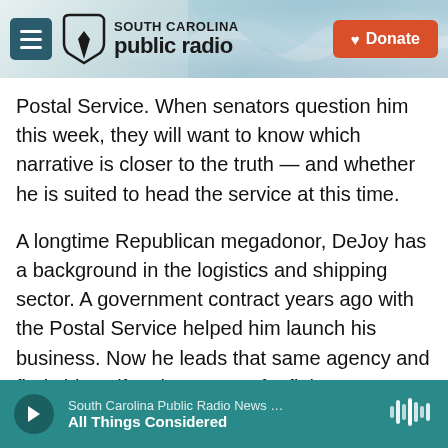South Carolina Public Radio — Donate
Postal Service. When senators question him this week, they will want to know which narrative is closer to the truth — and whether he is suited to head the service at this time.
A longtime Republican megadonor, DeJoy has a background in the logistics and shipping sector. A government contract years ago with the Postal Service helped him launch his business. Now he leads that same agency and finds himself at the center of a fight over whether voters' ballots will be delivered and counted fairly in this year's presidential election.
South Carolina Public Radio News … All Things Considered